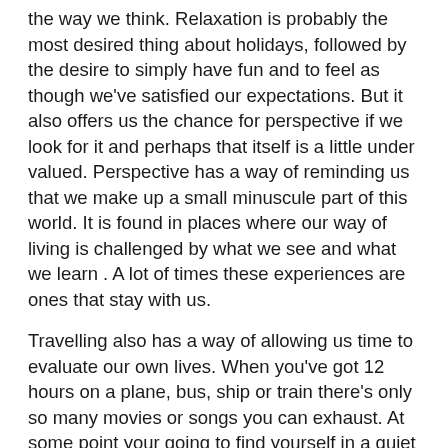the way we think. Relaxation is probably the most desired thing about holidays, followed by the desire to simply have fun and to feel as though we've satisfied our expectations. But it also offers us the chance for perspective if we look for it and perhaps that itself is a little under valued. Perspective has a way of reminding us that we make up a small minuscule part of this world. It is found in places where our way of living is challenged by what we see and what we learn . A lot of times these experiences are ones that stay with us.
Travelling also has a way of allowing us time to evaluate our own lives. When you've got 12 hours on a plane, bus, ship or train there's only so many movies or songs you can exhaust. At some point your going to find yourself in a quiet moment where you're likely to think about yourself, your friends, your family, your job and pretty much evaluate what it all means to you.
Travelling also has a way of  helping you evaluate your life upon your return. When you return you can feel a sense of continuing what you already know and be